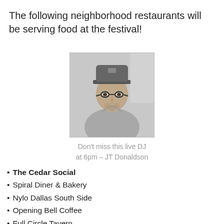The following neighborhood restaurants will be serving food at the festival!
[Figure (photo): Black and white photo of a man wearing glasses and a cap, looking at the camera, dressed in a casual shirt.]
Don't miss this live DJ at 6pm – JT Donaldson
The Cedar Social
Spiral Diner & Bakery
Nylo Dallas South Side
Opening Bell Coffee
Full Circle Tavern